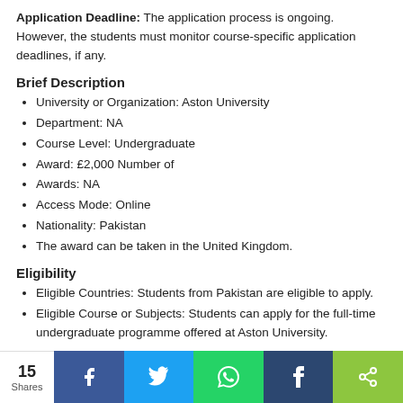Application Deadline: The application process is ongoing. However, the students must monitor course-specific application deadlines, if any.
Brief Description
University or Organization: Aston University
Department: NA
Course Level: Undergraduate
Award: £2,000 Number of
Awards: NA
Access Mode: Online
Nationality: Pakistan
The award can be taken in the United Kingdom.
Eligibility
Eligible Countries: Students from Pakistan are eligible to apply.
Eligible Course or Subjects: Students can apply for the full-time undergraduate programme offered at Aston University.
15 Shares